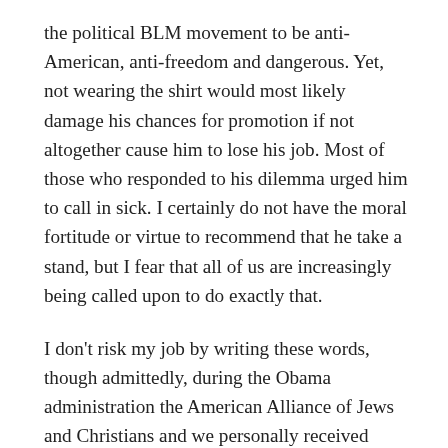the political BLM movement to be anti-American, anti-freedom and dangerous. Yet, not wearing the shirt would most likely damage his chances for promotion if not altogether cause him to lose his job. Most of those who responded to his dilemma urged him to call in sick. I certainly do not have the moral fortitude or virtue to recommend that he take a stand, but I fear that all of us are increasingly being called upon to do exactly that.
I don't risk my job by writing these words, though admittedly, during the Obama administration the American Alliance of Jews and Christians and we personally received more tax audits than one might expect. Paraphrasing Dorothy Thompson, people with dark skin can be racist and those with white skin can champion true freedom and love for all. Among those who speak of an end to racism are those who are actually saying, “I suffered and now it’s my turn to make others suffer.” There are also those who see a vehicle they can use to advance their